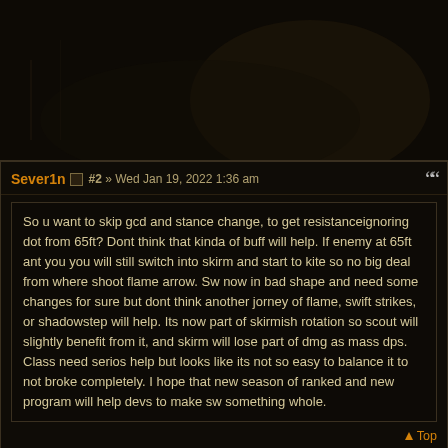[Figure (photo): Dark atmospheric background image with faint figure silhouettes, very dark brownish-black tones]
Sever1n #2 » Wed Jan 19, 2022 1:36 am
So u want to skip gcd and stance change, to get resistanceignoring dot from 65ft? Dont think that kinda of buff will help. If enemy at 65ft ant you you will still switch into skirm and start to kite so no big deal from where shoot flame arrow. Sw now in bad shape and need some changes for sure but dont think another jorney of flame, swift strikes, or shadowstep will help. Its now part of skirmish rotation so scout will slightly benefit from it, and skirm will lose part of dmg as mass dps. Class need serios help but looks like its not so easy to balance it to not broke completely. I hope that new season of ranked and new program will help devs to make sw something whole.
▲ Top
Orontes #3 » Wed Jan 19, 2022 3:32 am